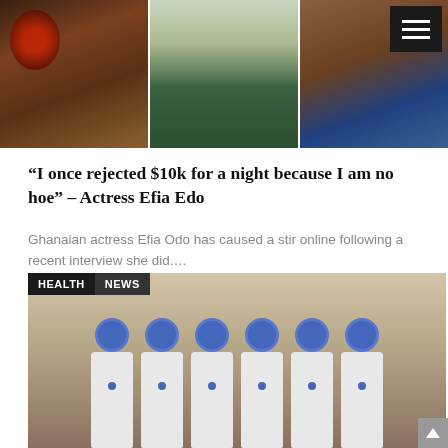[Figure (photo): Three-panel photo collage at the top of the page showing a woman in different poses and outfits: left panel shows woman in floral bikini top outdoors, center panel shows woman in white tied top and green pants, right panel shows woman sitting in colorful swimwear on a beach setting. A dark hamburger menu icon appears in the top-right corner.]
“I once rejected $10k for a night because I am no hoe” – Actress Efia Edo
Ghanaian actress Efia Odo has caused a stir online following a recent interview she did....
[Figure (photo): Photo of six people standing in a row wearing full white PPE (personal protective equipment) hazmat suits with blue protective caps/shields. They are standing in what appears to be a hospital or medical facility corridor. Tags reading HEALTH and NEWS appear in the upper left corner of the image.]